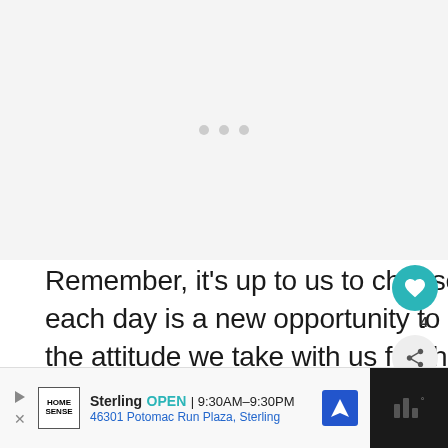[Figure (other): Loading placeholder area with three gray dots indicating content is loading]
Remember, it's up to us to choose how we live our lives – each day is a new opportunity to take charge and choose the attitude we take with us for the day.
[Figure (other): Heart/like button (teal circle with white heart icon) with count 4, and share button below]
[Figure (other): What's Next panel showing '50 Positive Habits for a...' with thumbnail]
[Figure (other): Advertisement banner for Home Sense store in Sterling, OPEN 9:30AM-9:30PM, 46301 Potomac Run Plaza, Sterling]